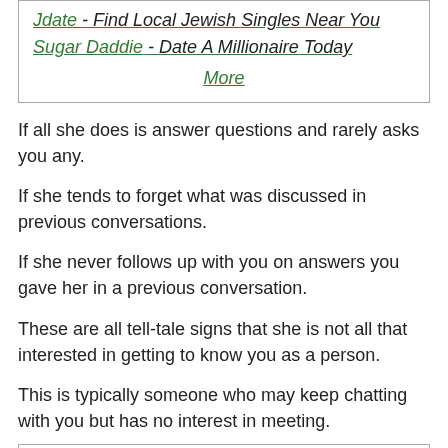[Figure (other): Ad box with links: Jdate - Find Local Jewish Singles Near You, Sugar Daddie - Date A Millionaire Today, More]
If all she does is answer questions and rarely asks you any.
If she tends to forget what was discussed in previous conversations.
If she never follows up with you on answers you gave her in a previous conversation.
These are all tell-tale signs that she is not all that interested in getting to know you as a person.
This is typically someone who may keep chatting with you but has no interest in meeting.
[Figure (other): Bottom box with title: Best Dating Sites]